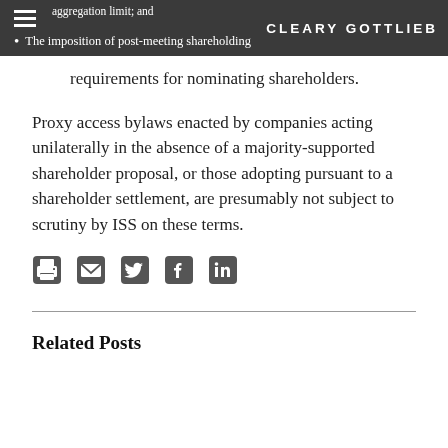aggregation limit; and • The imposition of post-meeting shareholding requirements for nominating shareholders. CLEARY GOTTLIEB
requirements for nominating shareholders.
Proxy access bylaws enacted by companies acting unilaterally in the absence of a majority-supported shareholder proposal, or those adopting pursuant to a shareholder settlement, are presumably not subject to scrutiny by ISS on these terms.
[Figure (infographic): Social share icons: print, email, Twitter, Facebook, LinkedIn]
Related Posts